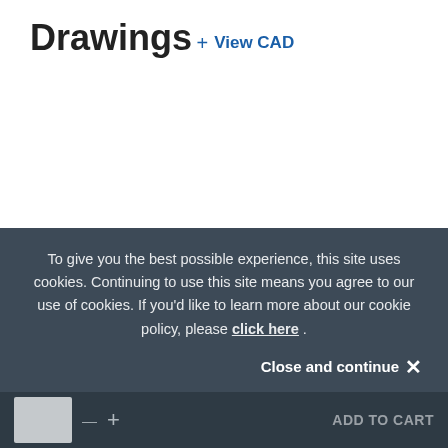Drawings
+ View CAD
Similar Products
To give you the best possible experience, this site uses cookies. Continuing to use this site means you agree to our use of cookies. If you'd like to learn more about our cookie policy, please click here .
Close and continue ✕